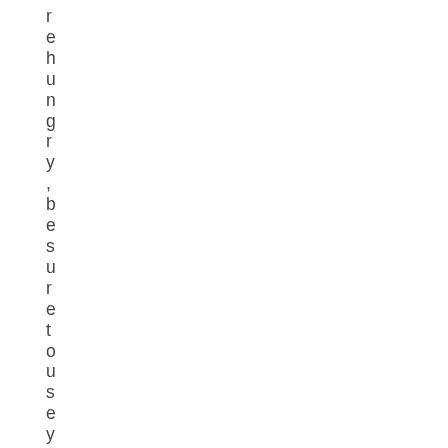rehungry, be sure to use your cryp